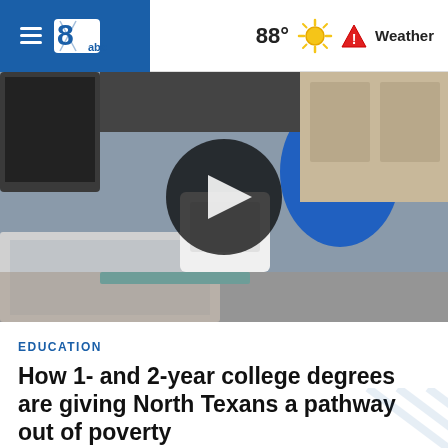WFAA abc — 88° Weather
[Figure (screenshot): Video thumbnail showing a person in a blue shirt working at a desk with a laptop. A large circular play button overlay is centered on the image.]
EDUCATION
How 1- and 2-year college degrees are giving North Texans a pathway out of poverty
About half of Texas high school seniors pursue